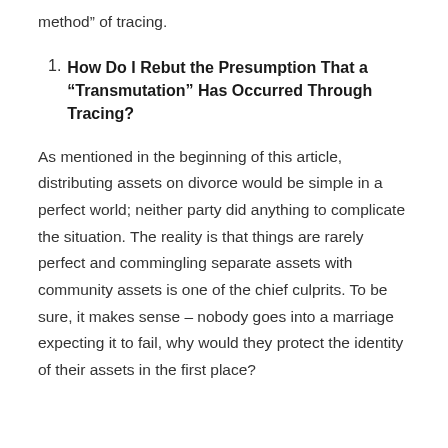method” of tracing.
1. How Do I Rebut the Presumption That a “Transmutation” Has Occurred Through Tracing?
As mentioned in the beginning of this article, distributing assets on divorce would be simple in a perfect world; neither party did anything to complicate the situation. The reality is that things are rarely perfect and commingling separate assets with community assets is one of the chief culprits. To be sure, it makes sense – nobody goes into a marriage expecting it to fail, why would they protect the identity of their assets in the first place?